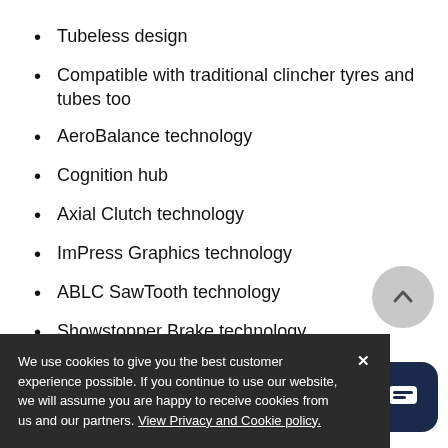Tubeless design
Compatible with traditional clincher tyres and tubes too
AeroBalance technology
Cognition hub
Axial Clutch technology
ImPress Graphics technology
ABLC SawTooth technology
Showstopper Brake technology
Handcrafted in Indianapolis, USA
18 spokes front
24 spokes rear
We use cookies to give you the best customer experience possible. If you continue to use our website, we will assume you are happy to receive cookies from us and our partners. View Privacy and Cookie policy.